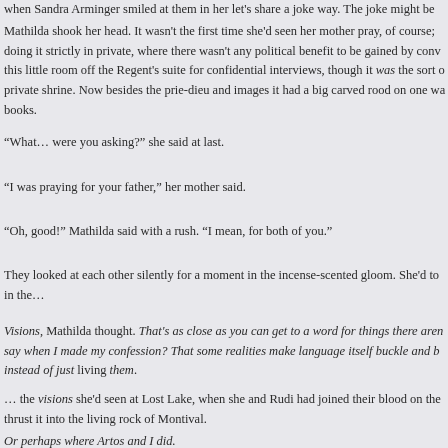when Sandra Arminger smiled at them in her let's share a joke way. The joke might be
Mathilda shook her head. It wasn't the first time she'd seen her mother pray, of course; doing it strictly in private, where there wasn't any political benefit to be gained by conv this little room off the Regent's suite for confidential interviews, though it was the sort of private shrine. Now besides the prie-dieu and images it had a big carved rood on one wa books.
“What… were you asking?” she said at last.
“I was praying for your father,” her mother said.
“Oh, good!” Mathilda said with a rush. “I mean, for both of you.”
They looked at each other silently for a moment in the incense-scented gloom. She'd to in the…
Visions, Mathilda thought. That's as close as you can get to a word for things there aren say when I made my confession? That some realities make language itself buckle and b instead of just living them.
… the visions she'd seen at Lost Lake, when she and Rudi had joined their blood on the thrust it into the living rock of Montival.
Or perhaps where Artos and I did.